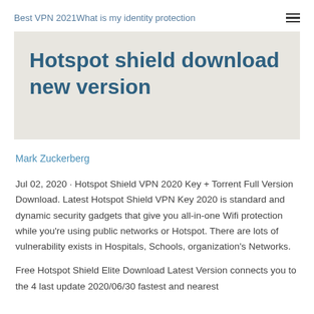Best VPN 2021What is my identity protection
Hotspot shield download new version
Mark Zuckerberg
Jul 02, 2020 · Hotspot Shield VPN 2020 Key + Torrent Full Version Download. Latest Hotspot Shield VPN Key 2020 is standard and dynamic security gadgets that give you all-in-one Wifi protection while you're using public networks or Hotspot. There are lots of vulnerability exists in Hospitals, Schools, organization's Networks.
Free Hotspot Shield Elite Download Latest Version connects you to the 4 last update 2020/06/30 fastest and nearest